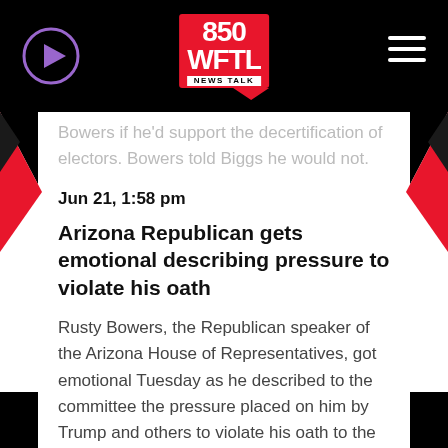850 WFTL NEWS TALK
Bowers if he'd support the decertification of electors. Bowers told Biggs he would not.
Jun 21, 1:58 pm
Arizona Republican gets emotional describing pressure to violate his oath
Rusty Bowers, the Republican speaker of the Arizona House of Representatives, got emotional Tuesday as he described to the committee the pressure placed on him by Trump and others to violate his oath to the Constitution.
Bowers said he was not presented with any strong evidence that would have given him doubt as to the integrity of the election.